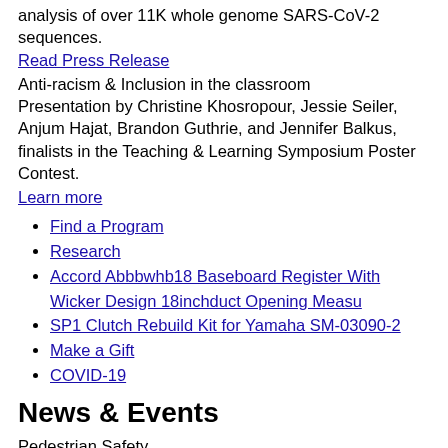analysis of over 11K whole genome SARS-CoV-2 sequences.
Read Press Release
Anti-racism & Inclusion in the classroom
Presentation by Christine Khosropour, Jessie Seiler, Anjum Hajat, Brandon Guthrie, and Jennifer Balkus, finalists in the Teaching & Learning Symposium Poster Contest.
Learn more
Find a Program
Research
Accord Abbbwhb18 Baseboard Register With Wicker Design 18inchduct Opening Measu
SP1 Clutch Rebuild Kit for Yamaha SM-03090-2
Make a Gift
COVID-19
News & Events
Pedestrian Safety
Assistant Professor Dr. Steve Mooney spoke with KUOW about increasing pedestrian fatalities in Seattle.
Learn more
UW Epi Strategic Plan